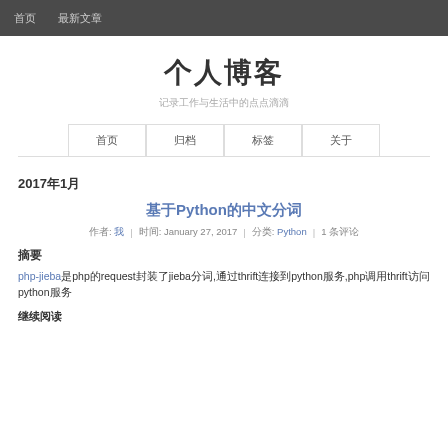首页  最新文章
个人博客
记录工作与生活中的点点滴滴
| 首页 | 归档 | 标签 | 关于 |
| --- | --- | --- | --- |
2017年1月
基于Python的中文分词
作者: 我  |  时间: January 27, 2017  |  分类: Python  |  1 条评论
摘要
php-jieba是php的request封装了jieba分词,通过thrift连接到python服务,php调用thrift访问python服务
继续阅读